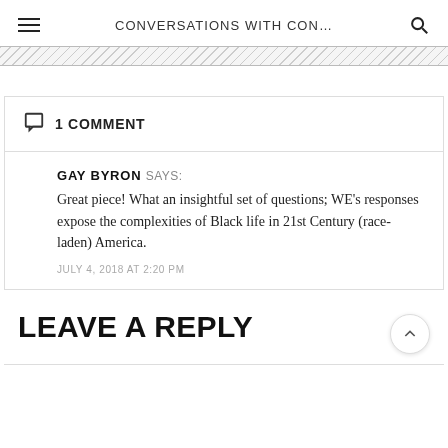CONVERSATIONS WITH CON...
1 COMMENT
GAY BYRON SAYS:
Great piece! What an insightful set of questions; WE's responses expose the complexities of Black life in 21st Century (race-laden) America.
JULY 4, 2018 AT 2:20 PM
LEAVE A REPLY